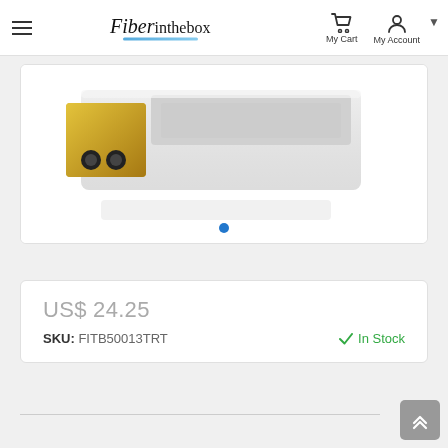Fiber in the box — My Cart  My Account
[Figure (photo): Product photo of a fiber optic transceiver module (SFP) with gold/yellow and white/grey coloring, shown at an angle on a white background. Blue dot indicator at bottom center.]
US$ 24.25
SKU: FITB50013TRT    ✓ In Stock